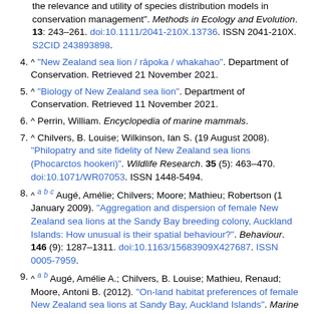(continuation) the relevance and utility of species distribution models in conservation management". Methods in Ecology and Evolution. 13: 243–261. doi:10.1111/2041-210X.13736. ISSN 2041-210X. S2CID 243893898.
4. ^ "New Zealand sea lion / rāpoka / whakahao". Department of Conservation. Retrieved 21 November 2021.
5. ^ "Biology of New Zealand sea lion". Department of Conservation. Retrieved 11 November 2021.
6. ^ Perrin, William. Encyclopedia of marine mammals.
7. ^ Chilvers, B. Louise; Wilkinson, Ian S. (19 August 2008). "Philopatry and site fidelity of New Zealand sea lions (Phocarctos hookeri)". Wildlife Research. 35 (5): 463–470. doi:10.1071/WR07053. ISSN 1448-5494.
8. ^ a b c Augé, Amélie; Chilvers; Moore; Mathieu; Robertson (1 January 2009). "Aggregation and dispersion of female New Zealand sea lions at the Sandy Bay breeding colony, Auckland Islands: How unusual is their spatial behaviour?". Behaviour. 146 (9): 1287–1311. doi:10.1163/15683909X427687. ISSN 0005-7959.
9. ^ a b Augé, Amélie A.; Chilvers, B. Louise; Mathieu, Renaud; Moore, Antoni B. (2012). "On-land habitat preferences of female New Zealand sea lions at Sandy Bay, Auckland Islands". Marine Mammal Science...